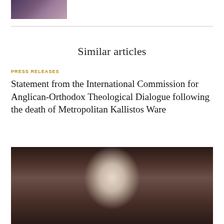[Figure (photo): Partial photo of two people, cropped at top of page]
Similar articles
PRESS RELEASES
Statement from the International Commission for Anglican-Orthodox Theological Dialogue following the death of Metropolitan Kallistos Ware
[Figure (photo): Portrait photo of an elderly man with white hair and beard wearing glasses, with bookshelves in the background]